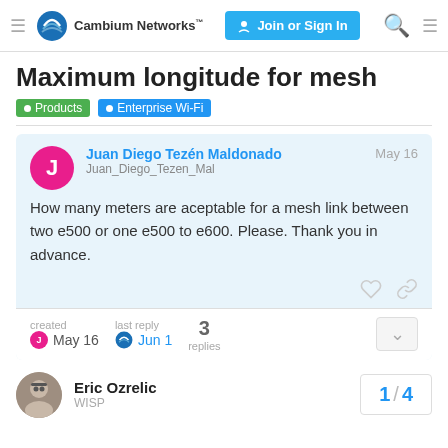Cambium Networks — Join or Sign In
Maximum longitude for mesh
Products > Enterprise Wi-Fi
Juan Diego Tezén Maldonado
Juan_Diego_Tezen_Mal
May 16

How many meters are aceptable for a mesh link between two e500 or one e500 to e600. Please. Thank you in advance.

created May 16  last reply Jun 1  3 replies
Eric Ozrelic
WISP
1 / 4